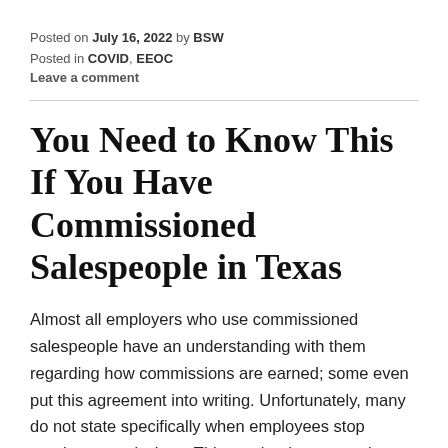Posted on July 16, 2022 by BSW
Posted in COVID, EEOC
Leave a comment
You Need to Know This If You Have Commissioned Salespeople in Texas
Almost all employers who use commissioned salespeople have an understanding with them regarding how commissions are earned; some even put this agreement into writing. Unfortunately, many do not state specifically when employees stop earning commissions. This can lead to expensive, unintended consequences in Texas.
Last month, the Texas Supreme Court in Perthuis v...